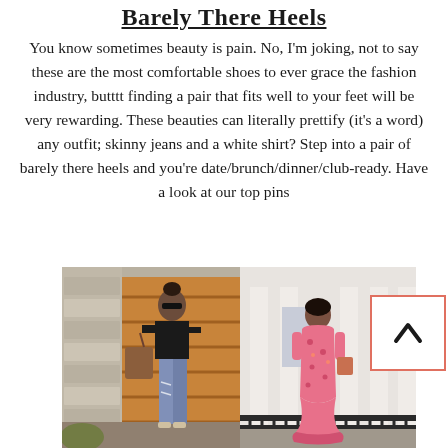Barely There Heels
You know sometimes beauty is pain. No, I'm joking, not to say these are the most comfortable shoes to ever grace the fashion industry, butttt finding a pair that fits well to your feet will be very rewarding. These beauties can literally prettify (it's a word) any outfit; skinny jeans and a white shirt? Step into a pair of barely there heels and you're date/brunch/dinner/club-ready. Have a look at our top pins
[Figure (photo): Two fashion photos side by side: left shows a woman in a black sleeveless top with ripped jeans holding a bag outdoors; right shows a woman in a pink floral dress standing in front of a white building with columns.]